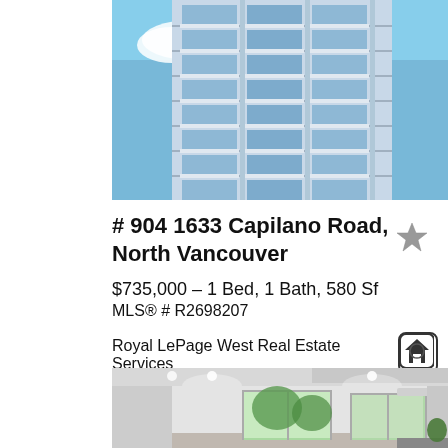[Figure (photo): Exterior photo of a modern high-rise condominium building with glass balconies and blue sky background]
# 904 1633 Capilano Road, North Vancouver
$735,000 – 1 Bed, 1 Bath, 580 Sf
MLS® # R2698207
Royal LePage West Real Estate Services
[Figure (photo): Interior photo of a bright modern room with recessed lighting, large windows, and sliding glass door with greenery visible outside]